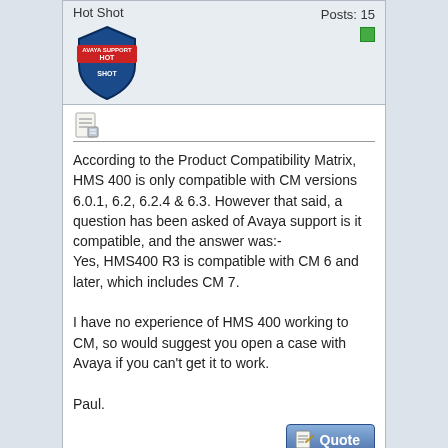Hot Shot
[Figure (logo): Avaya Support Hot Shot badge - blue shield with red banner]
Posts: 15
According to the Product Compatibility Matrix, HMS 400 is only compatible with CM versions 6.0.1, 6.2, 6.2.4 & 6.3. However that said, a question has been asked of Avaya support is it compatible, and the answer was:-
Yes, HMS400 R3 is compatible with CM 6 and later, which includes CM 7.

I have no experience of HMS 400 working to CM, so would suggest you open a case with Avaya if you can't get it to work.

Paul.
[Figure (screenshot): Quote button - blue gradient button with pencil icon and text 'Quote']
[Figure (screenshot): Post Reply button - blue gradient button with pencil/paper icon and text 'Post Reply']
« Previous Thread | Next Thread »
Posting Rules